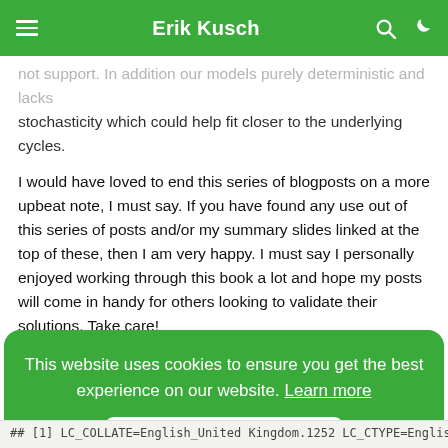Erik Kusch
not support. In addition our models purely deterministic and lacks stochasticity which could help fit closer to the underlying cycles.
I would have loved to end this series of blogposts on a more upbeat note, I must say. If you have found any use out of this series of posts and/or my summary slides linked at the top of these, then I am very happy. I must say I personally enjoyed working through this book a lot and hope my posts will come in handy for others looking to validate their solutions. Take care!
Session Info
This website uses cookies to ensure you get the best experience on our website. Learn more
Got it!
## [1] LC_COLLATE=English_United Kingdom.1252  LC_CTYPE=English_Unite